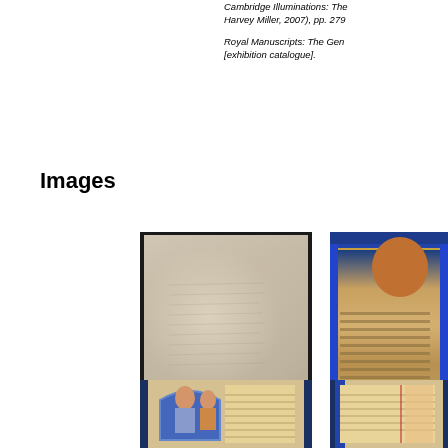Cambridge Illuminations: The
Harvey Miller, 2007), pp. 279
Royal Manuscripts: The Gen
[exhibition catalogue].
Images
[Figure (photo): A manuscript page showing aged parchment with faint handwriting, dark border frame. Labeled f. *v, Offset of Trinity.]
f. *v
Offset of Trinity
[Figure (photo): A partially visible illuminated manuscript page with blue border decoration and a figure, cut off at right edge.]
[Figure (photo): Bottom portion of an illuminated manuscript showing an arched scene with figures, decorative border.]
[Figure (photo): Partially visible illuminated manuscript page at bottom right, cut off.]